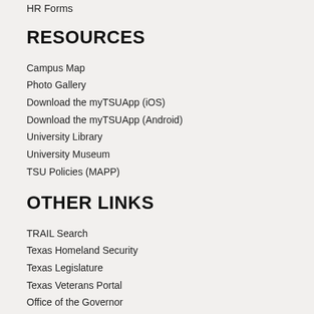HR Forms
RESOURCES
Campus Map
Photo Gallery
Download the myTSUApp (iOS)
Download the myTSUApp (Android)
University Library
University Museum
TSU Policies (MAPP)
OTHER LINKS
TRAIL Search
Texas Homeland Security
Texas Legislature
Texas Veterans Portal
Office of the Governor
Institutional Resume
Legislative Appropriations Request
TSU Quality Enhancement Plan